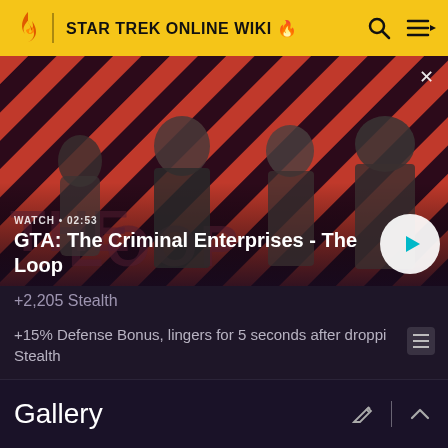STAR TREK ONLINE WIKI
[Figure (screenshot): GTA: The Criminal Enterprises - The Loop promotional video thumbnail showing four game characters on a red and black diagonal striped background. Text overlay reads WATCH • 02:53 with title GTA: The Criminal Enterprises - The Loop. A white circular play button is shown at the lower right.]
+2,205 Stealth
+15% Defense Bonus, lingers for 5 seconds after dropping Stealth
Gallery